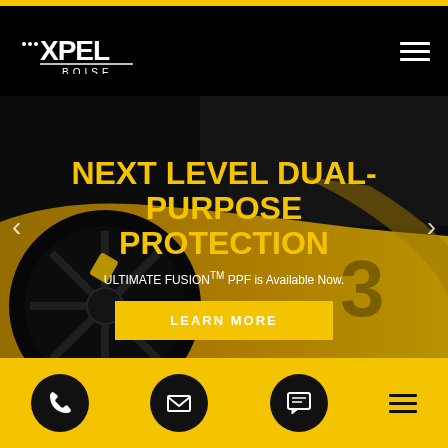[Figure (logo): XPEL Boise logo — white XPEL wordmark with dots on black background, with BOISE text below]
[Figure (photo): Close-up of yellow supercar (likely Lamborghini) showing front wheel with yellow brake caliper, carbon fiber bodywork details, dark moody high-contrast photography]
NEXT LEVEL DUAL-PURPOSE PROTECTION
ULTIMATE FUSION™ PPF is Available Now.
LEARN MORE
[Figure (infographic): Bottom yellow bar with four black circular icon buttons: phone icon, email/envelope icon, chat/message icon, hamburger menu icon]